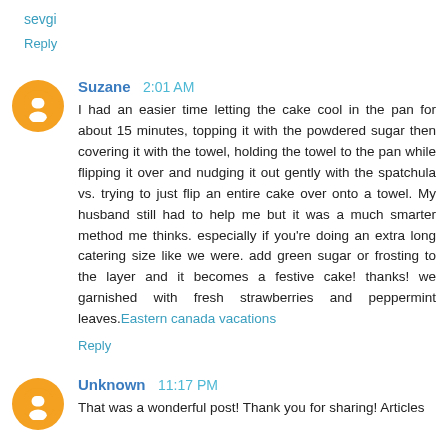sevgi
Reply
Suzane  2:01 AM
I had an easier time letting the cake cool in the pan for about 15 minutes, topping it with the powdered sugar then covering it with the towel, holding the towel to the pan while flipping it over and nudging it out gently with the spatchula vs. trying to just flip an entire cake over onto a towel. My husband still had to help me but it was a much smarter method me thinks. especially if you're doing an extra long catering size like we were. add green sugar or frosting to the layer and it becomes a festive cake! thanks! we garnished with fresh strawberries and peppermint leaves.Eastern canada vacations
Reply
Unknown  11:17 PM
That was a wonderful post! Thank you for sharing! Articles